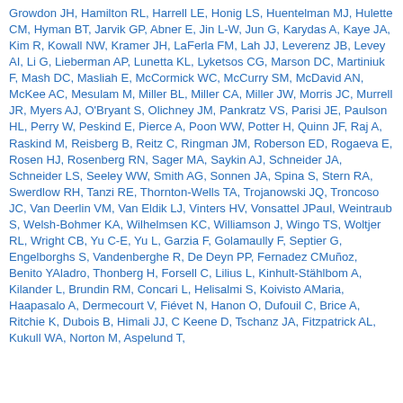Growdon JH, Hamilton RL, Harrell LE, Honig LS, Huentelman MJ, Hulette CM, Hyman BT, Jarvik GP, Abner E, Jin L-W, Jun G, Karydas A, Kaye JA, Kim R, Kowall NW, Kramer JH, LaFerla FM, Lah JJ, Leverenz JB, Levey AI, Li G, Lieberman AP, Lunetta KL, Lyketsos CG, Marson DC, Martiniuk F, Mash DC, Masliah E, McCormick WC, McCurry SM, McDavid AN, McKee AC, Mesulam M, Miller BL, Miller CA, Miller JW, Morris JC, Murrell JR, Myers AJ, O'Bryant S, Olichney JM, Pankratz VS, Parisi JE, Paulson HL, Perry W, Peskind E, Pierce A, Poon WW, Potter H, Quinn JF, Raj A, Raskind M, Reisberg B, Reitz C, Ringman JM, Roberson ED, Rogaeva E, Rosen HJ, Rosenberg RN, Sager MA, Saykin AJ, Schneider JA, Schneider LS, Seeley WW, Smith AG, Sonnen JA, Spina S, Stern RA, Swerdlow RH, Tanzi RE, Thornton-Wells TA, Trojanowski JQ, Troncoso JC, Van Deerlin VM, Van Eldik LJ, Vinters HV, Vonsattel JPaul, Weintraub S, Welsh-Bohmer KA, Wilhelmsen KC, Williamson J, Wingo TS, Woltjer RL, Wright CB, Yu C-E, Yu L, Garzia F, Golamaully F, Septier G, Engelborghs S, Vandenberghe R, De Deyn PP, Fernadez CMuñoz, Benito YAladro, Thonberg H, Forsell C, Lilius L, Kinhult-Stählbom A, Kilander L, Brundin RM, Concari L, Helisalmi S, Koivisto AMaria, Haapasalo A, Dermecourt V, Fiévet N, Hanon O, Dufouil C, Brice A, Ritchie K, Dubois B, Himali JJ, C Keene D, Tschanz JA, Fitzpatrick AL, Kukull WA, Norton M, Aspelund T,